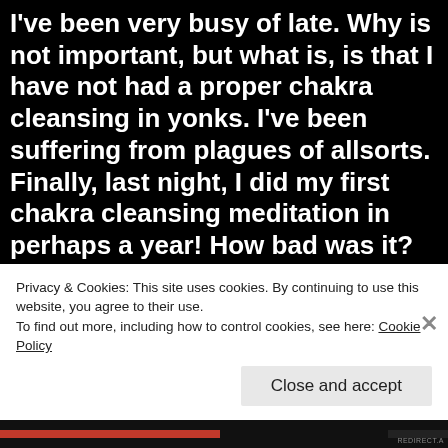I've been very busy of late. Why is not important, but what is, is that I have not had a proper chakra cleansing in yonks. I've been suffering from plagues of allsorts. Finally, last night, I did my first chakra cleansing meditation in perhaps a year! How bad was it? So bad I could no longer visualise the colours of the chakras. They were all black. I have never seen anything so sad in my life! How dare I think I can help others if I'm not taking care of myself? I do feel much better today because I have managed to at least open the vortexes of the chakras, but I imagine I only got that far because of my Serpentine watching over me on
Privacy & Cookies: This site uses cookies. By continuing to use this website, you agree to their use.
To find out more, including how to control cookies, see here: Cookie Policy
Close and accept